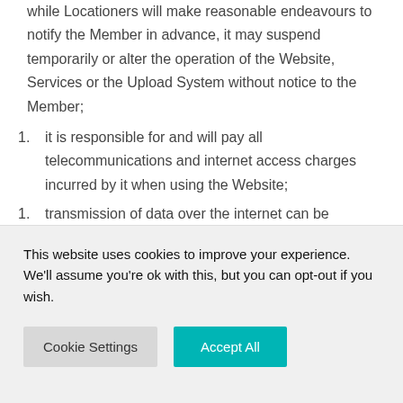while Locationers will make reasonable endeavours to notify the Member in advance, it may suspend temporarily or alter the operation of the Website, Services or the Upload System without notice to the Member;
1. it is responsible for and will pay all telecommunications and internet access charges incurred by it when using the Website;
1. transmission of data over the internet can be subject to delays and errors and
This website uses cookies to improve your experience. We'll assume you're ok with this, but you can opt-out if you wish.
Cookie Settings | Accept All